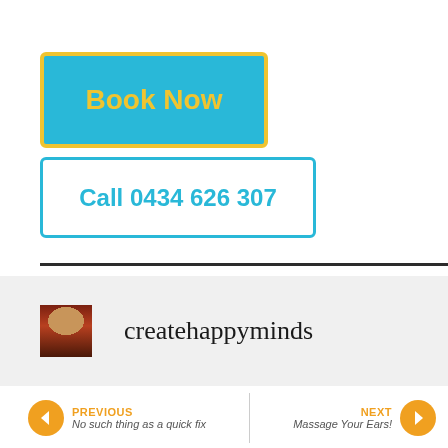Book Now
Call 0434 626 307
createhappyminds
PREVIOUS
No such thing as a quick fix
NEXT
Massage Your Ears!